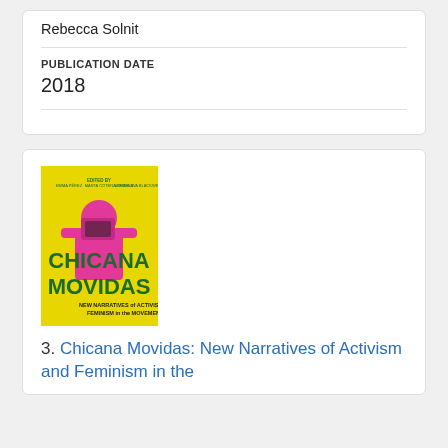Rebecca Solnit
PUBLICATION DATE
2018
[Figure (illustration): Book cover of 'Chicana Movidas: New Narratives of Activism and Feminism in the Movement Era'. Yellow background with large green text 'CHICANA MOVIDAS' and a stylized pink figure of a woman holding a camera. Subtitle reads 'NEW NARRATIVES of ACTIVISM and FEMINISM in the MOVEMENT ERA'. Edited by Emma Pérez, Marta Cotera, and Miroslava Chávez-García.]
3. Chicana Movidas: New Narratives of Activism and Feminism in the